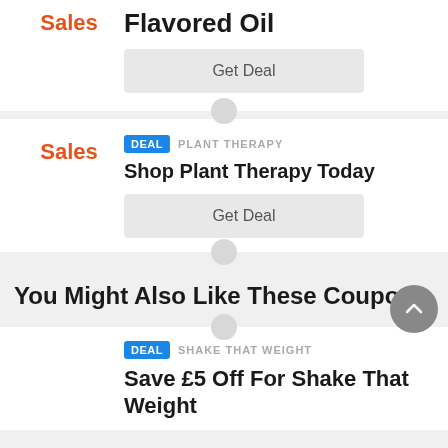Flavored Oil
Sales
Get Deal
DEAL  PLANT THERAPY
Shop Plant Therapy Today
Sales
Get Deal
You Might Also Like These Coupons
DEAL  SHAKE THAT WEIGHT
Save £5 Off For Shake That Weight